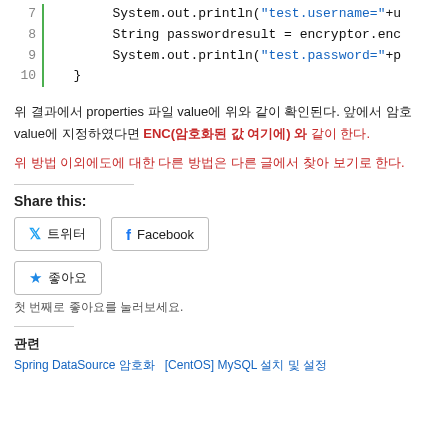[Figure (screenshot): Java code snippet showing lines 7-10: System.out.println with test.username, String passwordresult with encryptor.enc, System.out.println with test.password, and closing brace. Green vertical bar on left.]
위 결과에서 properties 파일 value에 위와 같이 확인된다. 앞에서 암호 value에 지정하였다면 ENC(암호화된 값 여기에) 와 같이 한다.
위 방법 이외에도에 대한 다른 방법은 다른 글에서 찾아 보기로 한다.
Share this:
Twitter Facebook
좋아요
첫 번째로 좋아요를 눌러보세요.
관련
Spring DataSource 암호화	[CentOS] MySQL 설치 및 설정